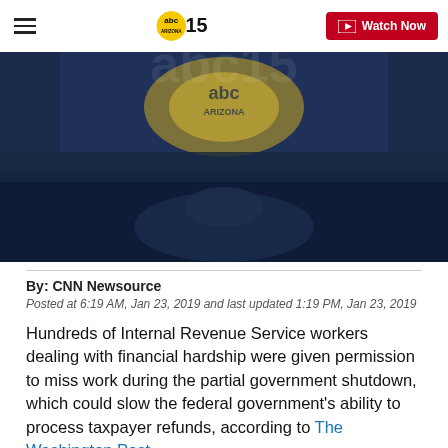abc15 ARIZONA — Watch Now
[Figure (screenshot): Hero image showing a dark blue toned screenshot of a news broadcast with the abc15 logo watermark overlay visible in the center]
By: CNN Newsource
Posted at 6:19 AM, Jan 23, 2019 and last updated 1:19 PM, Jan 23, 2019
Hundreds of Internal Revenue Service workers dealing with financial hardship were given permission to miss work during the partial government shutdown, which could slow the federal government's ability to process taxpayer refunds, according to The Washington Post.
Union leaders told the newspaper they are expecting the absences to increase as part of a coordinated protest.